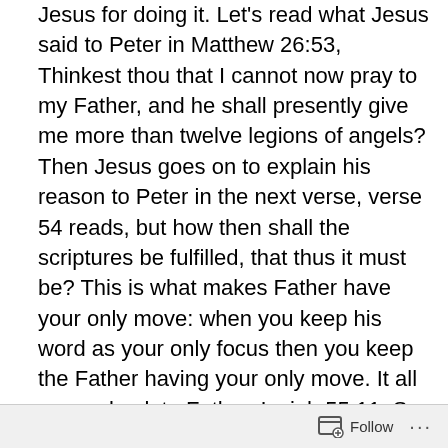Jesus for doing it. Let's read what Jesus said to Peter in Matthew 26:53, Thinkest thou that I cannot now pray to my Father, and he shall presently give me more than twelve legions of angels? Then Jesus goes on to explain his reason to Peter in the next verse, verse 54 reads, but how then shall the scriptures be fulfilled, that thus it must be? This is what makes Father have your only move: when you keep his word as your only focus then you keep the Father having your only move. It all comes back to Father. Isaiah 55:11, So shall my word be that goeth forth out of my mouth: it shall not return unto me void, but it shall accomplish that which I please, and it shall prosper in the thing whereto I sent it.

Now if Father's word is not your only focus, then Father
Follow ···